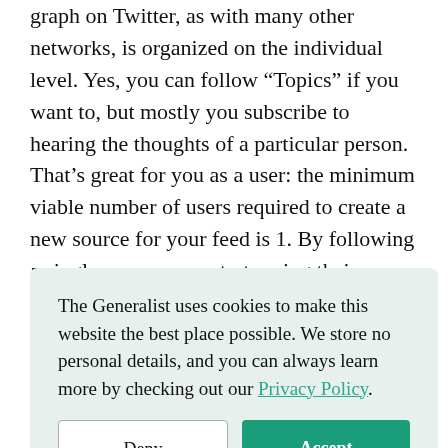graph on Twitter, as with many other networks, is organized on the individual level. Yes, you can follow “Topics” if you want to, but mostly you subscribe to hearing the thoughts of a particular person. That’s great for you as a user: the minimum viable number of users required to create a new source for your feed is 1. By following a single person, you start seeing their content. That granularity and low user to source ratio makes it easy to construct a feed of interesting information in the
The Generalist uses cookies to make this website the best place possible. We store no personal details, and you can always learn more by checking out our Privacy Policy.
This is a challenge for internationalization. If I’m an Urdu